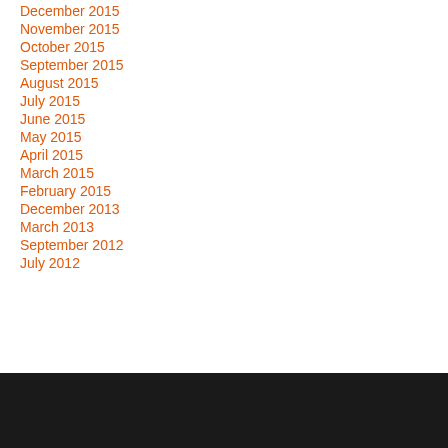December 2015
November 2015
October 2015
September 2015
August 2015
July 2015
June 2015
May 2015
April 2015
March 2015
February 2015
December 2013
March 2013
September 2012
July 2012